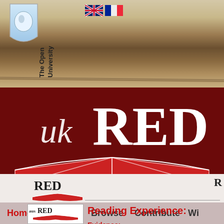[Figure (logo): The Open University shield logo with circular emblem, blue and white, with text 'The Open University' written vertically]
[Figure (logo): UK and French flag icons side by side]
[Figure (logo): UK RED logo — large white italic 'uk' and bold white 'RED' text on dark red background with open book illustration in red and white below]
Home    Search    Browse    Contribute    Wi...
[Figure (logo): RED open book small logo in black and red]
[Figure (logo): AusRED open book small logo with text 'ausRED' in box]
Reading Experience:
Evidence:
R...